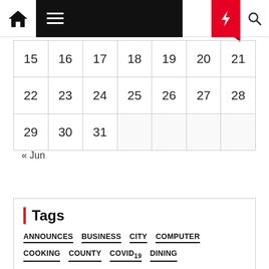Navigation bar with home, menu, moon, flash, search icons
| 15 | 16 | 17 | 18 | 19 | 20 | 21 |
| 22 | 23 | 24 | 25 | 26 | 27 | 28 |
| 29 | 30 | 31 |  |  |  |  |
« Jun
Tags
ANNOUNCES
BUSINESS
CITY
COMPUTER
COOKING
COUNTY
COVID19
DINING
ENTERTAINMENT
ESTATE
EVENTS
FALL
FASHION
FINANCE
FITNESS
GARDEN
HEALTH